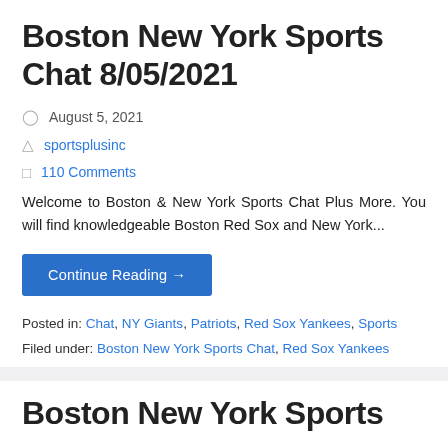Boston New York Sports Chat 8/05/2021
August 5, 2021
sportsplusinc
110 Comments
Welcome to Boston & New York Sports Chat Plus More. You will find knowledgeable Boston Red Sox and New York...
Continue Reading →
Posted in: Chat, NY Giants, Patriots, Red Sox Yankees, Sports
Filed under: Boston New York Sports Chat, Red Sox Yankees
Boston New York Sports